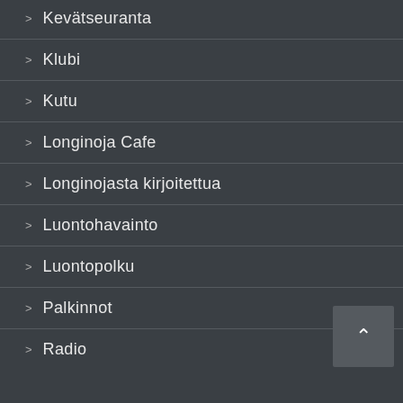Kevätseuranta
Klubi
Kutu
Longinoja Cafe
Longinojasta kirjoitettua
Luontohavainto
Luontopolku
Palkinnot
Radio